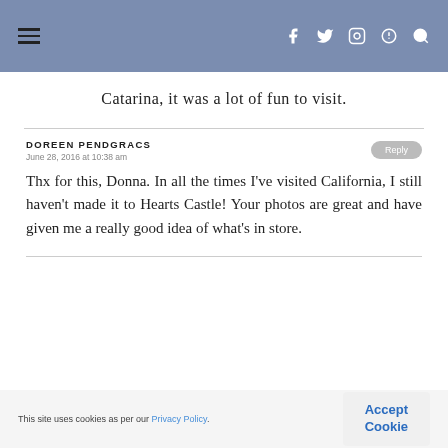☰ [navigation icons: f t @ ❤ 🔍]
Catarina, it was a lot of fun to visit.
DOREEN PENDGRACS
June 28, 2016 at 10:38 am
Thx for this, Donna. In all the times I've visited California, I still haven't made it to Hearts Castle! Your photos are great and have given me a really good idea of what's in store.
This site uses cookies as per our Privacy Policy.